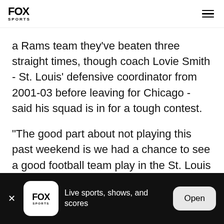FOX SPORTS
a Rams team they've beaten three straight times, though coach Lovie Smith - St. Louis' defensive coordinator from 2001-03 before leaving for Chicago - said his squad is in for a tough contest.
"The good part about not playing this past weekend is we had a chance to see a good football team play in the St. Louis Rams," Smith said. "There were some impressive wins over the weekend, but theirs was as impressive as any."
FOX SPORTS — Live sports, shows, and scores — Open